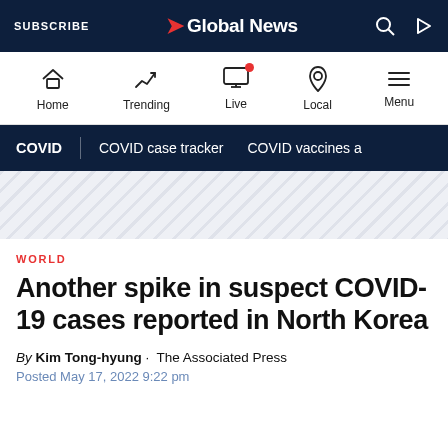SUBSCRIBE | Global News
[Figure (screenshot): Global News mobile app navigation bar with Home, Trending, Live, Local, Menu icons]
COVID | COVID case tracker | COVID vaccines a
[Figure (other): Diagonal stripe decorative banner]
WORLD
Another spike in suspect COVID-19 cases reported in North Korea
By Kim Tong-hyung · The Associated Press
Posted May 17, 2022 9:22 pm